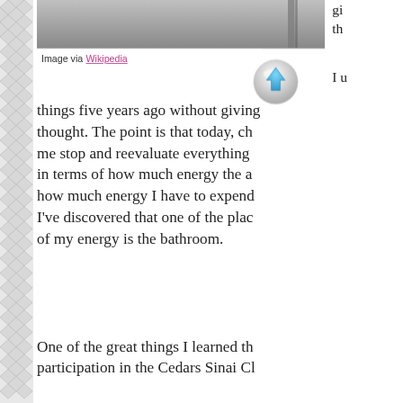[Figure (photo): Partial photo visible at top of page, appears to be a bathroom or similar interior]
Image via Wikipedia
[Figure (other): Scroll-to-top button overlay — circular grey button with blue upward arrow]
things five years ago without giving thought. The point is that today, change me stop and reevaluate everything in terms of how much energy the a how much energy I have to expend I've discovered that one of the plac of my energy is the bathroom.
One of the great things I learned th participation in the Cedars Sinai Cl